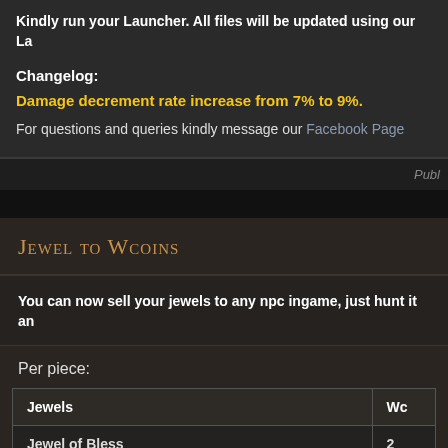Kindly run your Launcher. All files will be updated using our La
Changelog:
Damage decrement rate increase from 7% to 9%.
For questions and queries kindly message our Facebook Page
Publ
Jewel to Wcoins
You can now sell your jewels to any npc ingame, just hunt it an
Per piece:
| Jewels | Wc |
| --- | --- |
| Jewel of Bless | 2 |